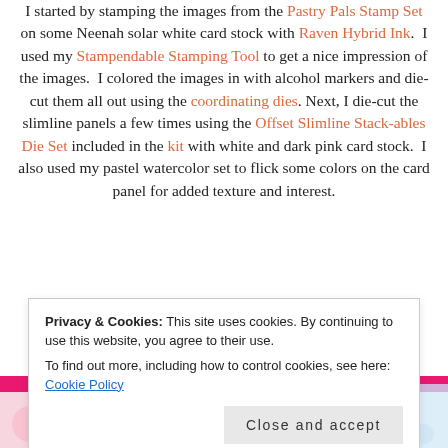I started by stamping the images from the Pastry Pals Stamp Set on some Neenah solar white card stock with Raven Hybrid Ink. I used my Stampendable Stamping Tool to get a nice impression of the images. I colored the images in with alcohol markers and die-cut them all out using the coordinating dies. Next, I die-cut the slimline panels a few times using the Offset Slimline Stack-ables Die Set included in the kit with white and dark pink card stock. I also used my pastel watercolor set to flick some colors on the card panel for added texture and interest.
[Figure (photo): Partial view of colorful illustrated card with pink bar at top and cartoon/kawaii style images on white and pink card stock panels.]
Privacy & Cookies: This site uses cookies. By continuing to use this website, you agree to their use. To find out more, including how to control cookies, see here: Cookie Policy
Close and accept